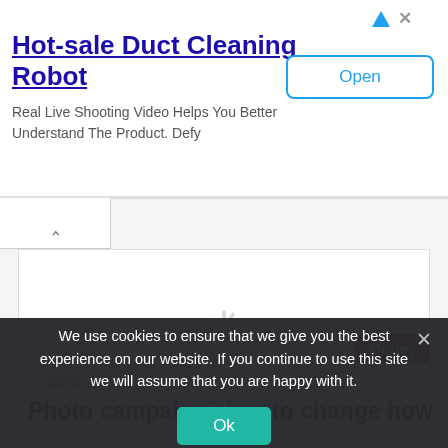[Figure (screenshot): Advertisement banner: Hot-sale Duct Cleaning Robot with Open button]
Hot-sale Duct Cleaning Robot
Real Live Shooting Video Helps You Better Understand The Product. Defy
[Figure (screenshot): Website content area with loading spinner and Money badge]
admin  32 mins ago  0
Photo campaign aims to change how
We use cookies to ensure that we give you the best experience on our website. If you continue to use this site we will assume that you are happy with it.
Ok